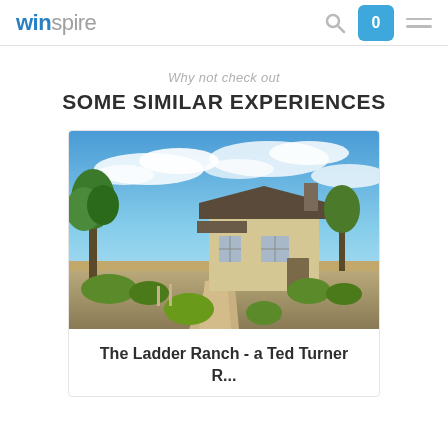winspire — navigation header with search, cart (0), and menu icons
Why not check out
SOME SIMILAR EXPERIENCES
[Figure (photo): Exterior photo of a ranch house with trees and blue sky — The Ladder Ranch, a Ted Turner property]
The Ladder Ranch - a Ted Turner R...